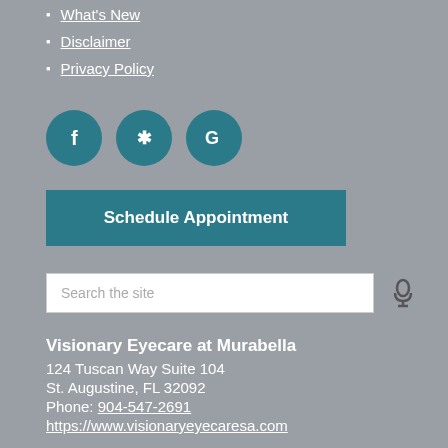What's New
Disclaimer
Privacy Policy
[Figure (illustration): Three circular social media icons: Facebook (f), Yelp (asterisk/flower), and Google (G), all in teal/dark cyan color on grey background]
Schedule Appointment
Search the site
Visionary Eyecare at Murabella
124 Tuscan Way Suite 104
St. Augustine, FL 32092
Phone: 904-547-2691
https://www.visionaryeyecaresa.com